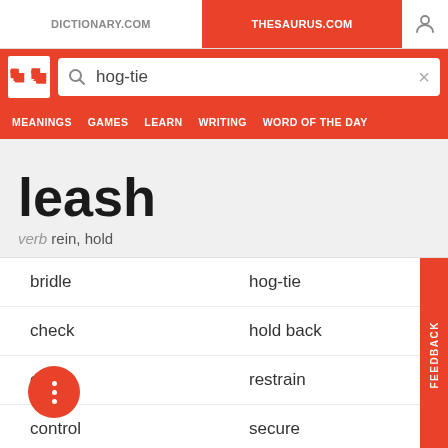DICTIONARY.COM | THESAURUS.COM
[Figure (screenshot): Thesaurus.com search bar with hog-tie query]
leash
verb rein, hold
bridle
hog-tie
check
hold back
clog
restrain
control
secure